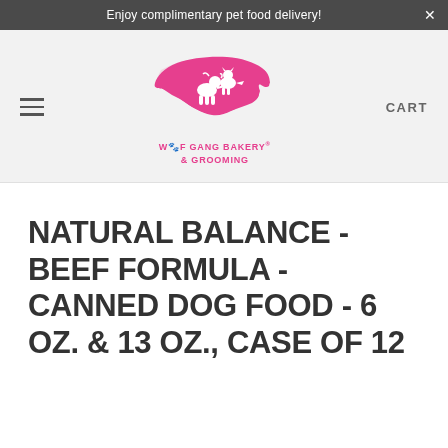Enjoy complimentary pet food delivery!
[Figure (logo): Woof Gang Bakery & Grooming logo — pink silhouette of North Carolina state shape with dog and cat silhouettes, text 'WOOF GANG BAKERY & GROOMING' in pink below]
NATURAL BALANCE - BEEF FORMULA - CANNED DOG FOOD - 6 OZ. & 13 OZ., CASE OF 12